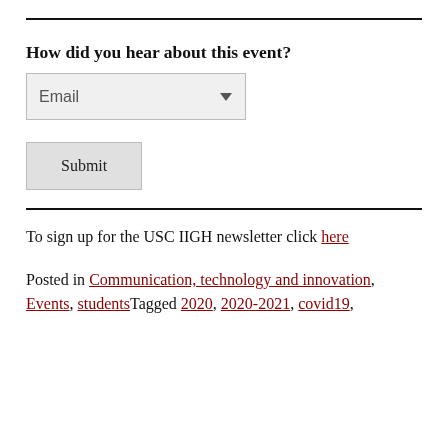How did you hear about this event?
Email (dropdown select)
Submit (button)
To sign up for the USC IIGH newsletter click here
Posted in Communication, technology and innovation, Events, studentsTagged 2020, 2020-2021, covid19,